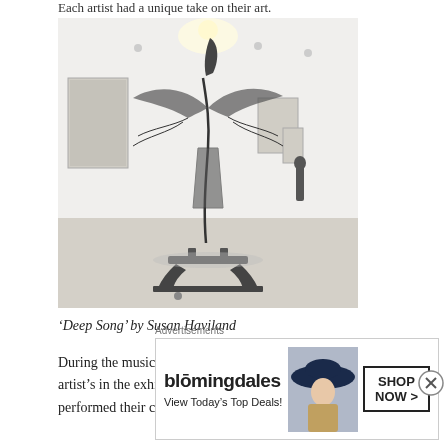Each artist had a unique take on their art.
[Figure (photo): Gallery interior showing a large bird-like wire sculpture in the foreground on a decorative stand, with other artworks on white walls and track lighting above.]
‘Deep Song’ by Susan Haviland
During the musical performance part of the opening, one of the artist’s in the exhibition teamed up with another musician and performed their concept of birds in flight. To
Advertisements
[Figure (other): Bloomingdale’s advertisement: ‘View Today’s Top Deals! SHOP NOW >’ with image of woman in hat.]